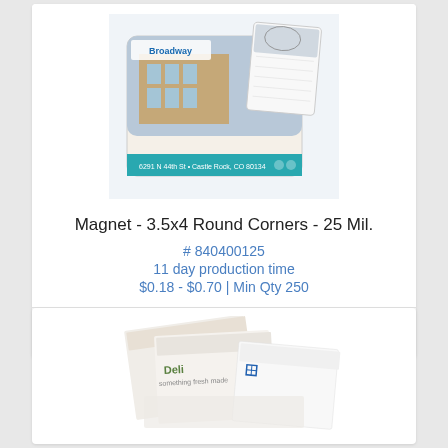[Figure (photo): Product image of Magnet - 3.5x4 Round Corners - 25 Mil., showing a Broadway dental center branded magnet and a calendar magnet]
Magnet - 3.5x4 Round Corners - 25 Mil.
# 840400125
11 day production time
$0.18 - $0.70 | Min Qty 250
[Figure (photo): Product image of sticky note pads showing Deli branded and Blue branded notepad products]